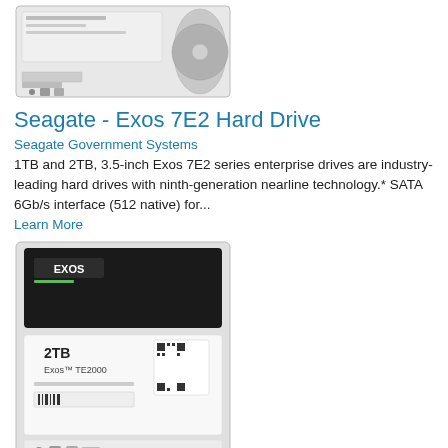[Figure (photo): Seagate Exos 7E2 hard drive product image, top and bottom view]
Seagate - Exos 7E2 Hard Drive
Seagate Government Systems
1TB and 2TB, 3.5-inch Exos 7E2 series enterprise drives are industry-leading hard drives with ninth-generation nearline technology.* SATA 6Gb/s interface (512 native) for...
Learn More
[Figure (photo): Seagate Exos 7E2000 2TB hard drive product image showing label with QR code]
Seagate - Exos 7E2000 Hard Drive
Seagate Government Systems
Up to 2TB (2000GB) of storage in a 2.5-inch form factor.* Exos 7E2000 provides the density, low power consumption and data integrity needed in traditional data centers and the cloud...
Learn More